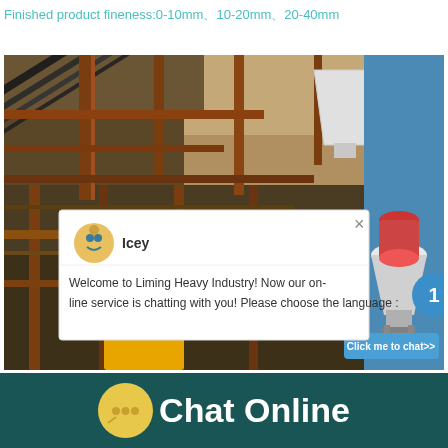Finished product fineness:0-10mm、10-20mm、20-40mm
[Figure (photo): Industrial mining/crushing plant with conveyor belts, steel structures, and a hopper. A chat widget overlay is visible on the right side showing a customer service agent named Icey with the message: Welcome to Liming Heavy Industry! Now our on-line service is chatting with you! Please choose the language. A cone crusher product image and a 'Click me to chat>>' button are also visible.]
Chat Online